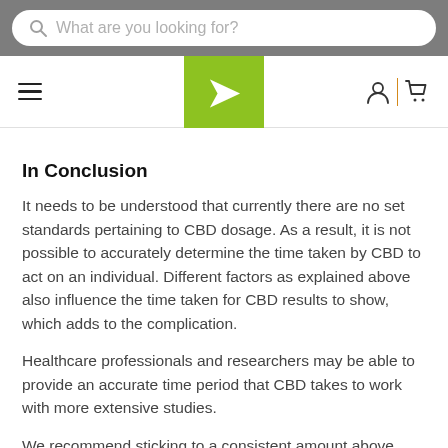What are you looking for? [search bar with logo navigation]
In Conclusion
It needs to be understood that currently there are no set standards pertaining to CBD dosage. As a result, it is not possible to accurately determine the time taken by CBD to act on an individual. Different factors as explained above also influence the time taken for CBD results to show, which adds to the complication.
Healthcare professionals and researchers may be able to provide an accurate time period that CBD takes to work with more extensive studies.
We recommend sticking to a consistent amount above 17mg a day for at least 30 days. Everyone is different